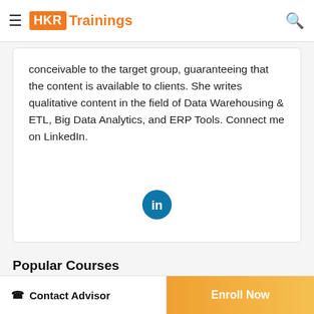HKR Trainings
conceivable to the target group, guaranteeing that the content is available to clients. She writes qualitative content in the field of Data Warehousing & ETL, Big Data Analytics, and ERP Tools. Connect me on LinkedIn.
[Figure (logo): LinkedIn icon — circular teal button with 'in' text]
Popular Courses
Alteryx Training
Mulesoft Training Certification
Salesforce Training
Microsoft Azure Certification Training
Contact Advisor | Enroll Now